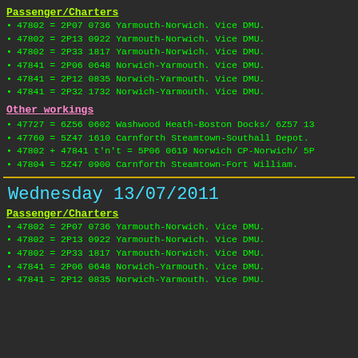Passenger/Charters
47802 = 2P07 0736 Yarmouth-Norwich. Vice DMU.
47802 = 2P13 0922 Yarmouth-Norwich. Vice DMU.
47802 = 2P33 1817 Yarmouth-Norwich. Vice DMU.
47841 = 2P06 0648 Norwich-Yarmouth. Vice DMU.
47841 = 2P12 0835 Norwich-Yarmouth. Vice DMU.
47841 = 2P32 1732 Norwich-Yarmouth. Vice DMU.
Other workings
47727 = 6Z56 0602 Washwood Heath-Boston Docks/ 6Z57 13
47760 = 5Z47 1610 Carnforth Steamtown-Southall Depot.
47802 + 47841 t'n't = 5P06 0619 Norwich CP-Norwich/ 5P
47804 = 5Z47 0900 Carnforth Steamtown-Fort William.
Wednesday 13/07/2011
Passenger/Charters
47802 = 2P07 0736 Yarmouth-Norwich. Vice DMU.
47802 = 2P13 0922 Yarmouth-Norwich. Vice DMU.
47802 = 2P33 1817 Yarmouth-Norwich. Vice DMU.
47841 = 2P06 0648 Norwich-Yarmouth. Vice DMU.
47841 = 2P12 0835 Norwich-Yarmouth. Vice DMU.